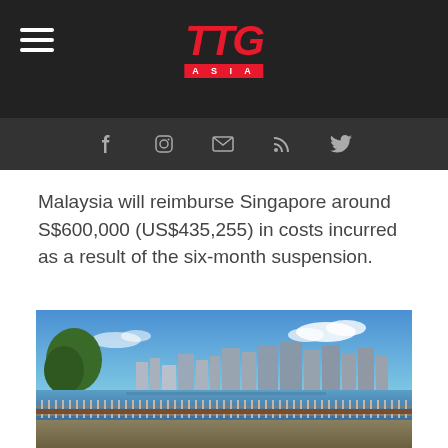TTG ASIA
Malaysia will reimburse Singapore around S$600,000 (US$435,255) in costs incurred as a result of the six-month suspension.
[Figure (photo): Waterfront promenade with metal railing in foreground, Singapore city skyline with tall buildings across the water, blue sky with clouds]